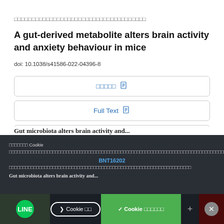□□□□□□□□□□□□□□□□□□□□□□□□□□□□□□□□□□□□□
A gut-derived metabolite alters brain activity and anxiety behaviour in mice
doi: 10.1038/s41586-022-04396-8
□□□□□
Full Text
PDF
□□□□□□□ Cookie □□□□□□□□□□□□□□□□□□□□□□□□□□□□□□□□□□□□□□□□□□□□□□□□□□□□□□□□□□□□□□□□□□□□□□□□□□□□□□□□□□□□□□□□□□□□□□□□□□
✓ Cookie □□□□□□